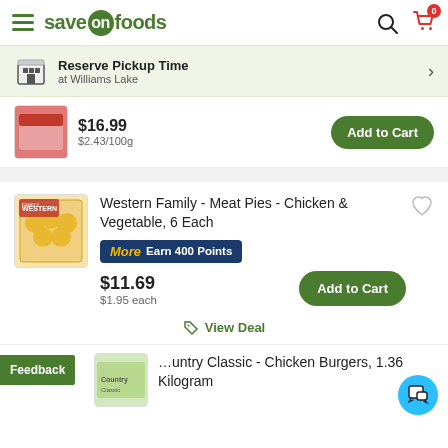Save On Foods - header with hamburger menu, logo, search and cart icons
Reserve Pickup Time at Williams Lake
$16.99
$2.43/100g
Add to Cart
Western Family - Meat Pies - Chicken & Vegetable, 6 Each
More Earn 400 Points
$11.69
$1.95 each
Add to Cart
View Deal
Feedback
...untry Classic - Chicken Burgers, 1.36 Kilogram